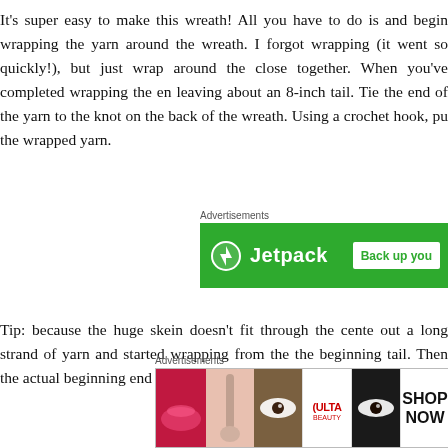It's super easy to make this wreath! All you have to do is and begin wrapping the yarn around the wreath. I forgot wrapping (it went so quickly!), but just wrap around the close together. When you've completed wrapping the en leaving about an 8-inch tail. Tie the end of the yarn to the knot on the back of the wreath. Using a crochet hook, pu the wrapped yarn.
[Figure (screenshot): Jetpack advertisement banner with green background showing Jetpack logo and 'Back up you' text on white button]
Tip: because the huge skein doesn't fit through the cente out a long strand of yarn and started wrapping from the the beginning tail. Then the actual beginning end of the s
[Figure (screenshot): ULTA beauty advertisement showing close-up images of eyes and lips with 'SHOP NOW' button]